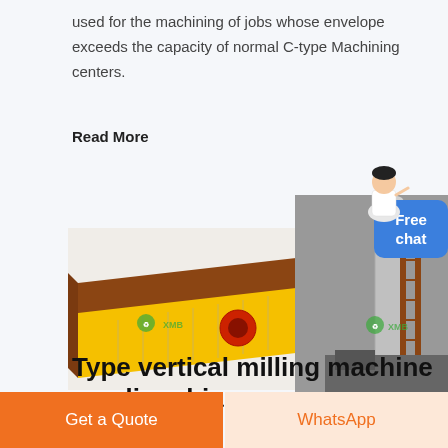used for the machining of jobs whose envelope exceeds the capacity of normal C-type Machining centers.
Read More
[Figure (photo): Yellow and brown industrial vibrating screen/feeder machine with XMP watermark]
[Figure (photo): Aerial/industrial photo of construction machinery or milling equipment with XMP watermark]
Type vertical milling machine saudi arabia
Get a Quote
WhatsApp